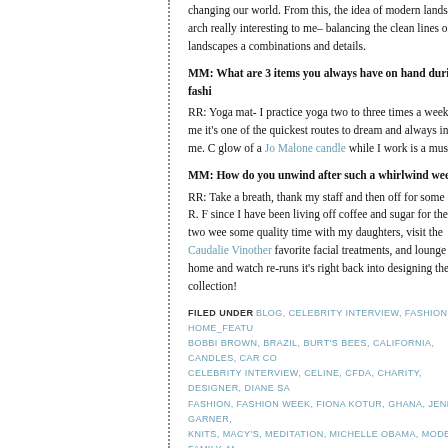changing our world. From this, the idea of modern landscape arch really interesting to me– balancing the clean lines of landscapes a combinations and details.
MM: What are 3 items you always have on hand during fashi
RR: Yoga mat- I practice yoga two to three times a week. The me it's one of the quickest routes to dream and always inspires me. C glow of a Jo Malone candle while I work is a must.
MM: How do you unwind after such a whirlwind week?
RR: Take a breath, thank my staff and then off for some R & R. F since I have been living off coffee and sugar for the past two wee some quality time with my daughters, visit the Caudalie Vinother favorite facial treatments, and lounge at home and watch re-runs it's right back into designing the next collection!
FILED UNDER BLOG, CELEBRITY INTERVIEW, FASHION, HOME_FEATU BOBBI BROWN, BRAZIL, BURT'S BEES, CALIFORNIA, CANDLES, CAR CO CELEBRITY INTERVIEW, CELINE, CFDA, CHARITY, DESIGNER, DIANE SA FASHION, FASHION WEEK, FIONA KOTUR, GHANA, JENNIFER GARNER, KNITS, MACY'S, MEDITATION, MICHELLE OBAMA, MODERN FAMILY, M PASSION, PENELOPE CRUZ, PLAZA HOTEL, RACHEL RACHEL ROY, RAC STYLE, THE OFFICE, TRAVEL, TRENCH COAT, TURTLENECK, WAVE